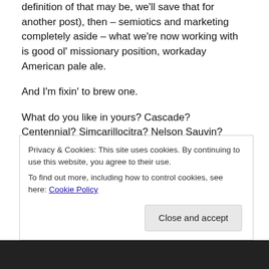definition of that may be, we'll save that for another post), then – semiotics and marketing completely aside – what we're now working with is good ol' missionary position, workaday American pale ale.
And I'm fixin' to brew one.
What do you like in yours? Cascade? Centennial? Simcarillocitra? Nelson Sauvin? CTZ? EKG? HBC342? Yes Munich malt? No Munich malt?
And I'm out of the loop on new products for the
Privacy & Cookies: This site uses cookies. By continuing to use this website, you agree to their use.
To find out more, including how to control cookies, see here: Cookie Policy
Close and accept
[Figure (photo): Bottom portion of a webpage showing a dark/black image area]